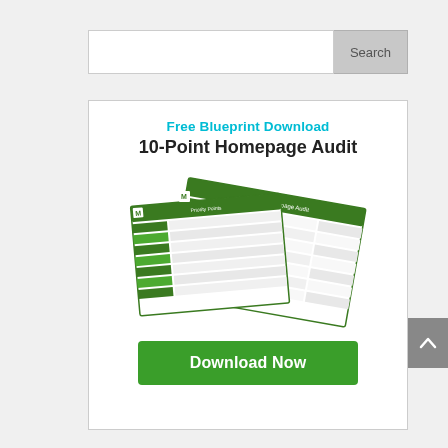[Figure (screenshot): Search bar with white input field and grey Search button]
[Figure (illustration): Advertisement box: Free Blueprint Download / 10-Point Homepage Audit with document preview image and green Download Now button]